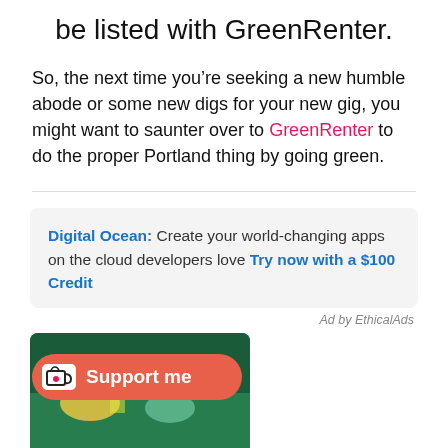be listed with GreenRenter.
So, the next time you’re seeking a new humble abode or some new digs for your new gig, you might want to saunter over to GreenRenter to do the proper Portland thing by going green.
Digital Ocean: Create your world-changing apps on the cloud developers love Try now with a $100 Credit
Ad by EthicalAds
[Figure (illustration): Partial view of an illustration or book cover with dark green background and colorful figures, partially cut off at bottom of page. A 'Support me' button with a coffee cup icon overlays it.]